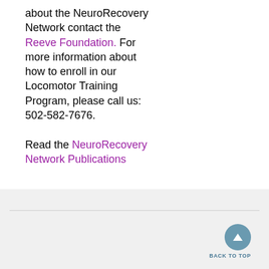about the NeuroRecovery Network contact the Reeve Foundation. For more information about how to enroll in our Locomotor Training Program, please call us: 502-582-7676.

Read the NeuroRecovery Network Publications
BACK TO TOP